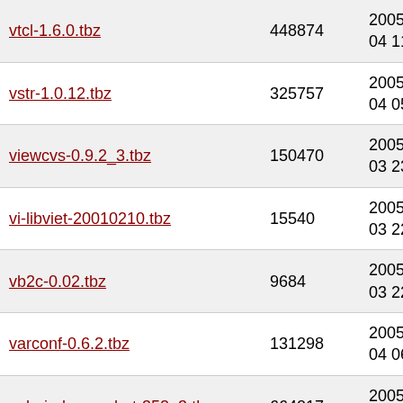| Filename | Size | Date |
| --- | --- | --- |
| vtcl-1.6.0.tbz | 448874 | 2005-Apr-04 11:07 |
| vstr-1.0.12.tbz | 325757 | 2005-Apr-04 05:21 |
| viewcvs-0.9.2_3.tbz | 150470 | 2005-Apr-03 23:16 |
| vi-libviet-20010210.tbz | 15540 | 2005-Apr-03 22:57 |
| vb2c-0.02.tbz | 9684 | 2005-Apr-03 22:23 |
| varconf-0.6.2.tbz | 131298 | 2005-Apr-04 06:41 |
| valgrind-snapshot-352_3.tbz | 664017 | 2005-Apr-04 05:27 |
| valgrind-352_3.tbz | 610213 | 2005-Apr-04 05:26 |
| v4all-2.1.1.9.tbz | 2065012 | 2005-Apr-05 17:45 |
| ustl-0.6.0.tbz | 97568 | 2005-Apr-04 04:45 |
| upnp-1.0.4_1,1.tbz | 152623 | 2005-Apr-04 05:46 |